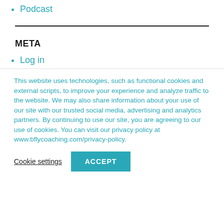Podcast
META
Log in
This website uses technologies, such as functional cookies and external scripts, to improve your experience and analyze traffic to the website. We may also share information about your use of our site with our trusted social media, advertising and analytics partners. By continuing to use our site, you are agreeing to our use of cookies. You can visit our privacy policy at www.bflycoaching.com/privacy-policy.
Cookie settings  ACCEPT